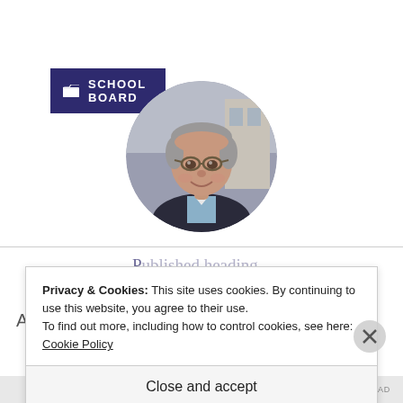SCHOOL BOARD
[Figure (photo): Circular portrait photo of a middle-aged man with grey hair and glasses, smiling, wearing a dark blazer]
Privacy & Cookies: This site uses cookies. By continuing to use this website, you agree to their use.
To find out more, including how to control cookies, see here: Cookie Policy
Close and accept